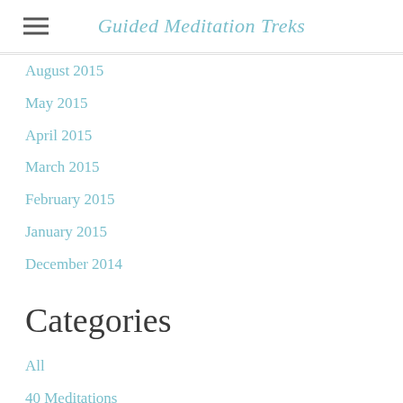Guided Meditation Treks
August 2015
May 2015
April 2015
March 2015
February 2015
January 2015
December 2014
Categories
All
40 Meditations
60 Minutes
Abundance
Acupuncture
Adhd
Affirmations